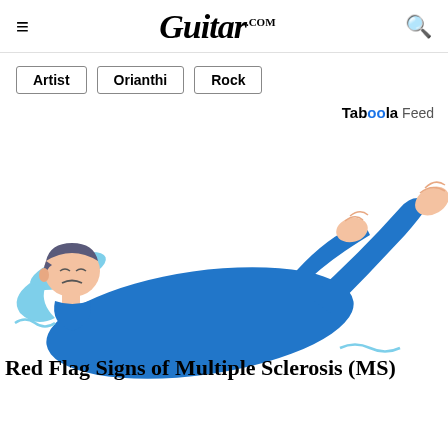Guitar.com
Artist
Orianthi
Rock
Taboola Feed
[Figure (illustration): Cartoon illustration of a person in a blue outfit lying on their back with arms and legs raised, appearing to be in distress or having a seizure, with a light blue background element]
Red Flag Signs of Multiple Sclerosis (MS)